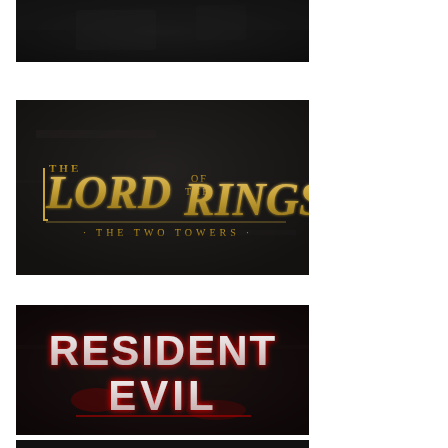[Figure (photo): Dark background image, top portion cropped, partially visible movie logo on black textured background]
[Figure (logo): The Lord of the Rings: The Two Towers movie logo — golden/bronze ornate text on dark stone-textured background]
[Figure (logo): Resident Evil movie logo — red glowing text on dark stone-textured background]
[Figure (photo): Dark textured background, bottom portion of another movie logo image, partially cropped]